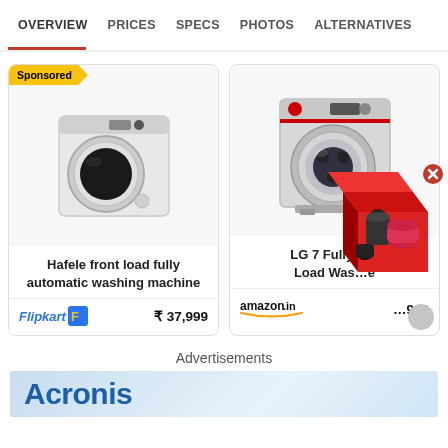OVERVIEW   PRICES   SPECS   PHOTOS   ALTERNATIVES
[Figure (screenshot): Product card: Hafele front load fully automatic washing machine, Flipkart, ₹ 37,999]
[Figure (screenshot): Product card: LG 7 Fully Automatic Front Load Washing Machine, amazon.in, price partially obscured, ends in 990]
[Figure (illustration): Popup overlay showing a red box with kitchen appliances and a red minus button]
Advertisements
[Figure (logo): Acronis advertisement banner with blue background and Acronis text]